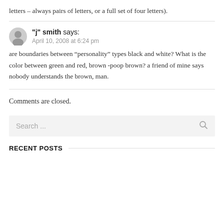letters – always pairs of letters, or a full set of four letters).
"j" smith says:
April 10, 2008 at 6:24 pm
are boundaries between “personality” types black and white? What is the color between green and red, brown -poop brown? a friend of mine says nobody understands the brown, man.
Comments are closed.
Search ...
RECENT POSTS